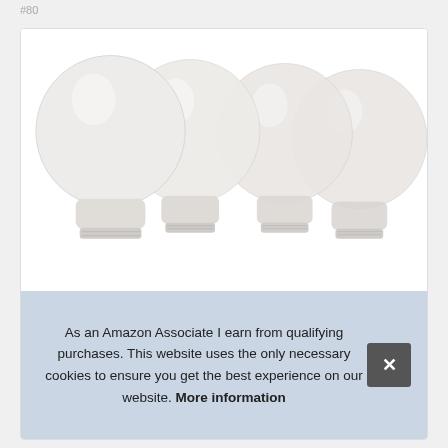#80
[Figure (photo): Four round white LED globe light bulbs arranged in a row, slightly overlapping, with screw bases at the bottom. The bulbs have a frosted white finish. Set against a white background inside a bordered card.]
As an Amazon Associate I earn from qualifying purchases. This website uses the only necessary cookies to ensure you get the best experience on our website. More information